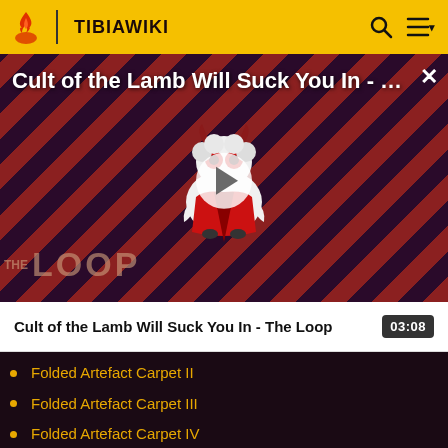TIBIAWIKI
[Figure (screenshot): Video thumbnail for 'Cult of the Lamb Will Suck You In - The Loop' showing a cartoon lamb character on a dark red and purple diagonal stripe background with 'THE LOOP' text overlay and a play button]
Cult of the Lamb Will Suck You In - The Loop  03:08
Folded Artefact Carpet II
Folded Artefact Carpet III
Folded Artefact Carpet IV